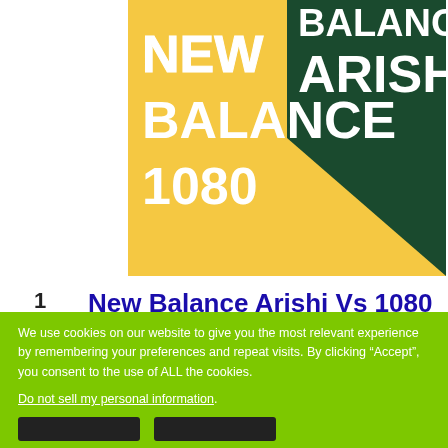[Figure (illustration): New Balance Arishi vs 1080 promotional banner with yellow and dark green diagonal design and white bold text]
1 SHARES
[Figure (logo): Facebook share button - blue square with white f]
New Balance Arishi Vs 1080
[Figure (illustration): Second New Balance promotional banner partially visible with green background and white text NEW]
We use cookies on our website to give you the most relevant experience by remembering your preferences and repeat visits. By clicking “Accept”, you consent to the use of ALL the cookies. Do not sell my personal information.
[Figure (illustration): Amazon forest protection advertisement: Just $2 can protect 1 acre of irreplaceable forest homes in the Amazon. How many acres are you willing to protect? PROTECT FORESTS NOW]